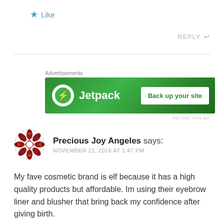★ Like
REPLY ↩
[Figure (other): Jetpack advertisement banner with logo and 'Back up your site' button]
Advertisements
REPORT THIS AD
Precious Joy Angeles says:
NOVEMBER 21, 2016 AT 1:47 PM
My fave cosmetic brand is elf because it has a high quality products but affordable. Im using their eyebrow liner and blusher that bring back my confidence after giving birth.